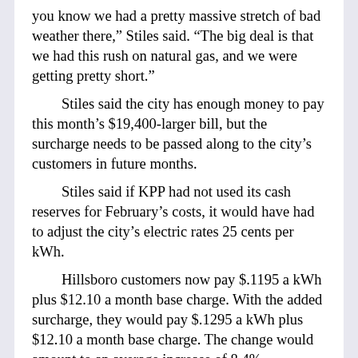you know we had a pretty massive stretch of bad weather there," Stiles said. "The big deal is that we had this rush on natural gas, and we were getting pretty short."
Stiles said the city has enough money to pay this month's $19,400-larger bill, but the surcharge needs to be passed along to the city's customers in future months.
Stiles said if KPP had not used its cash reserves for February's costs, it would have had to adjust the city's electric rates 25 cents per kWh.
Hillsboro customers now pay $.1195 a kWh plus $12.10 a month base charge. With the added surcharge, they would pay $.1295 a kWh plus $12.10 a month base charge. The change would amount to an average increase of 8.4%.
An ordinance to impose the surcharge will be ready for the council's vote at the April 6 meeting.
Stiles said the surcharge would be shown separately on customers' electric bills and will